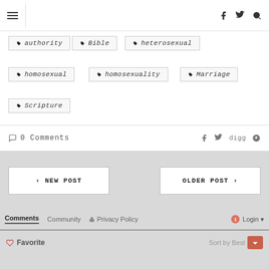hamburger menu | f twitter search
authority
Bible
heterosexual
homosexual
homosexuality
Marriage
Scripture
0 Comments
< NEW POST
OLDER POST >
Comments | Community | Privacy Policy | Login | Favorite | Sort by Best